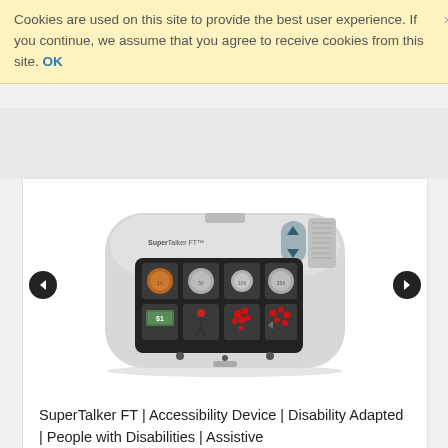Cookies are used on this site to provide the best user experience. If you continue, we assume that you agree to receive cookies from this site. OK
[Figure (photo): SuperTalker FT augmentative and alternative communication (AAC) device. A white rounded rectangular device with a black button grid showing 8 buttons arranged in 2 rows of 4. Top row shows coins (penny, nickel, dime, quarter). Bottom row shows a dollar bill and three pictographic icons. The device has up/down navigation buttons and a speaker grille on the upper right.]
SuperTalker FT | Accessibility Device | Disability Adapted | People with Disabilities | Assistive